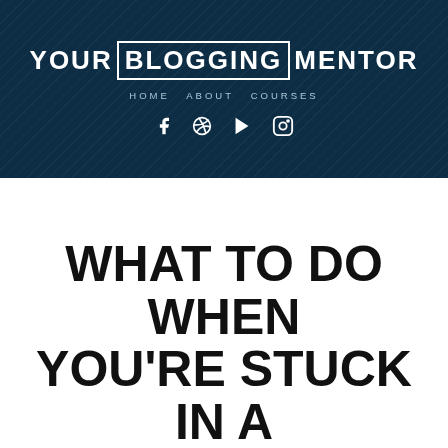[Figure (screenshot): Website header for 'Your Blogging Mentor' with dark navy diagonal-stripe background, site title with BLOGGING in a white box, navigation links HOME ABOUT COURSES, and social media icons for Facebook, Pinterest, YouTube, Instagram]
WHAT TO DO WHEN YOU'RE STUCK IN A